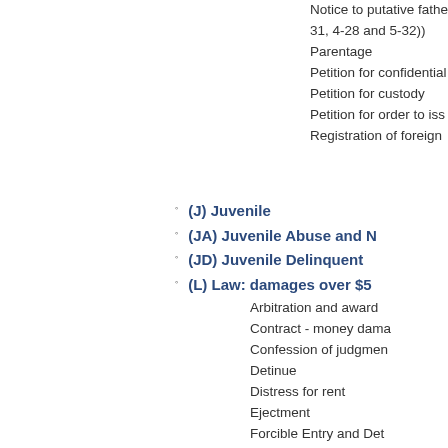Notice to putative fathe 31, 4-28 and 5-32))
Parentage
Petition for confidential
Petition for custody
Petition for order to iss
Registration of foreign
(J) Juvenile
(JA) Juvenile Abuse and N
(JD) Juvenile Delinquent
(L) Law: damages over $5
Arbitration and award
Contract - money dama
Confession of judgmen
Detinue
Distress for rent
Ejectment
Forcible Entry and Det
Replevin
Statutory action by a st
Tort - money damages
Trover
(LM) Law: damage $50,000
Arbitration and award